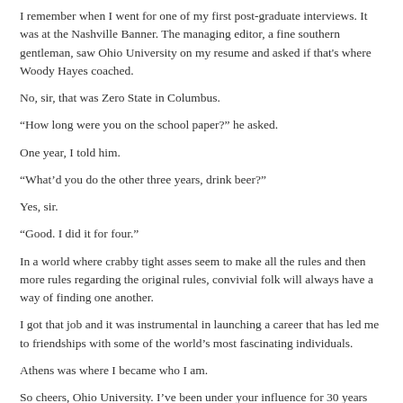I remember when I went for one of my first post-graduate interviews. It was at the Nashville Banner. The managing editor, a fine southern gentleman, saw Ohio University on my resume and asked if that's where Woody Hayes coached.
No, sir, that was Zero State in Columbus.
“How long were you on the school paper?” he asked.
One year, I told him.
“What’d you do the other three years, drink beer?”
Yes, sir.
“Good. I did it for four.”
In a world where crabby tight asses seem to make all the rules and then more rules regarding the original rules, convivial folk will always have a way of finding one another.
I got that job and it was instrumental in launching a career that has led me to friendships with some of the world’s most fascinating individuals.
Athens was where I became who I am.
So cheers, Ohio University. I’ve been under your influence for 30 years